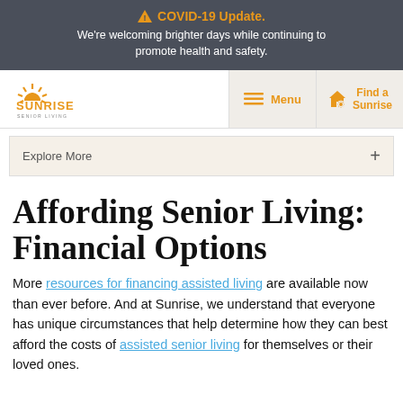⚠ COVID-19 Update. We're welcoming brighter days while continuing to promote health and safety.
[Figure (logo): Sunrise Senior Living logo with sun rays and orange text]
Explore More +
Affording Senior Living: Financial Options
More resources for financing assisted living are available now than ever before. And at Sunrise, we understand that everyone has unique circumstances that help determine how they can best afford the costs of assisted senior living for themselves or their loved ones.